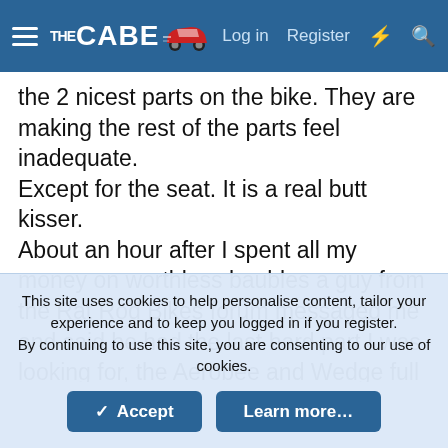THE CABE — Log in  Register
the 2 nicest parts on the bike. They are making the rest of the parts feel inadequate.
Except for the seat. It is a real butt kisser.
About an hour after I spent all my money on worthless baubles a guy from the Rat Rod Bikes forum messaged me and said he had the last hard part I was looking for, the Aerobee and Wedge full chainguard. I wanted to paint it black to match the bike and use the cool Flying Wedge 005 decal with the Screeech dragster by the back wheel. I may be
This site uses cookies to help personalise content, tailor your experience and to keep you logged in if you register.
By continuing to use this site, you are consenting to our use of cookies.